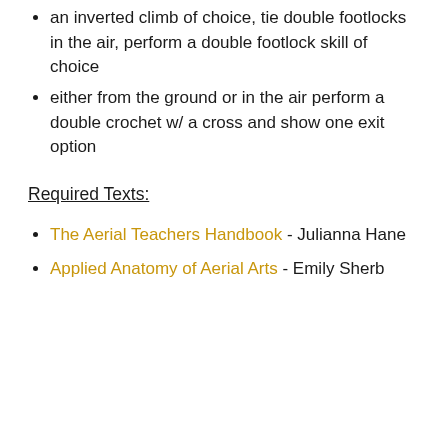an inverted climb of choice, tie double footlocks in the air, perform a double footlock skill of choice
either from the ground or in the air perform a double crochet w/ a cross and show one exit option
Required Texts:
The Aerial Teachers Handbook - Julianna Hane
Applied Anatomy of Aerial Arts - Emily Sherb